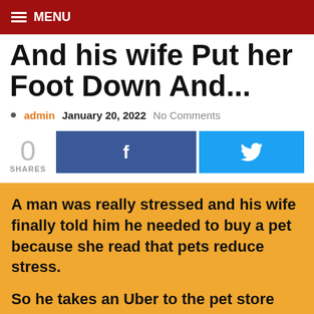≡ MENU
And his wife Put her Foot Down And...
admin  January 20, 2022  No Comments
0 SHARES  [Facebook share button]  [Twitter share button]
A man was really stressed and his wife finally told him he needed to buy a pet because she read that pets reduce stress.

So he takes an Uber to the pet store and is greeted by the owner, a very